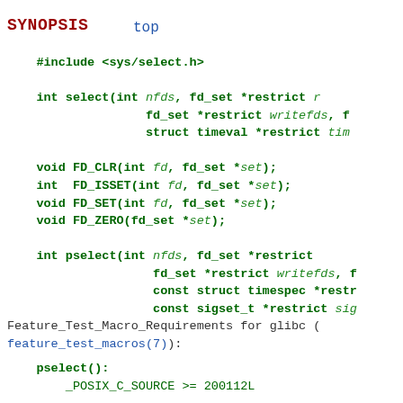SYNOPSIS
top
#include <sys/select.h>

int select(int nfds, fd_set *restrict r
           fd_set *restrict writefds, f
           struct timeval *restrict tim

void FD_CLR(int fd, fd_set *set);
int  FD_ISSET(int fd, fd_set *set);
void FD_SET(int fd, fd_set *set);
void FD_ZERO(fd_set *set);

int pselect(int nfds, fd_set *restrict
            fd_set *restrict writefds, f
            const struct timespec *restr
            const sigset_t *restrict sig
Feature_Test_Macro_Requirements for glibc (
feature_test_macros(7)):
pselect():
    _POSIX_C_SOURCE >= 200112L